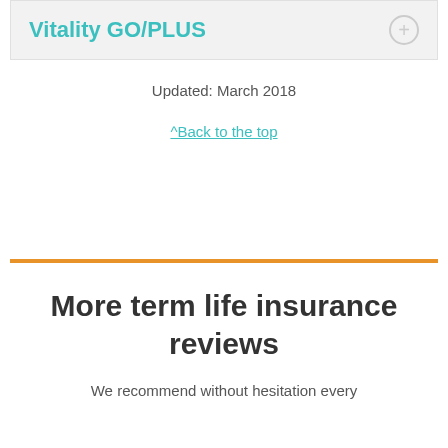Vitality GO/PLUS
Updated: March 2018
^Back to the top
More term life insurance reviews
We recommend without hesitation every